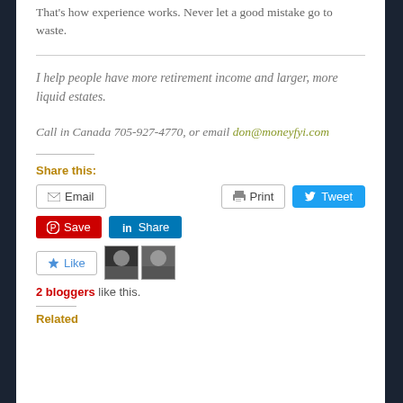That's how experience works. Never let a good mistake go to waste.
I help people have more retirement income and larger, more liquid estates.
Call in Canada 705-927-4770, or email don@moneyfyi.com
Share this:
Email  Print  Tweet  Save  Share  Like  2 bloggers like this.
Related